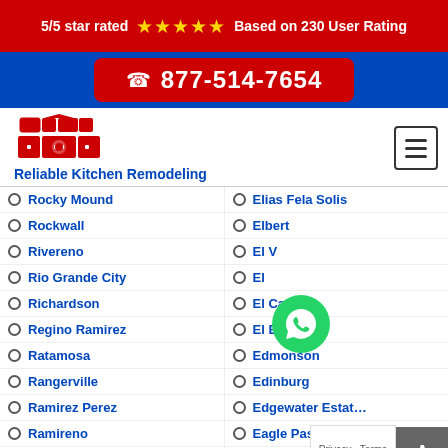5/5 star rated ★★★★★ Based on 230 User Rating
877-514-7654
[Figure (logo): Reliable Kitchen Remodeling red kitchen logo with text]
Rocky Mound
Rockwall
Rivereno
Rio Grande City
Richardson
Regino Ramirez
Ratamosa
Rangerville
Ramirez Perez
Ramireno
Quintana
Elias Fela Solis
Elbert
El V...
El ...
El Castillo
El Brazil
Edmonson
Edinburg
Edgewater Estates
Eagle Pass
Duncanville